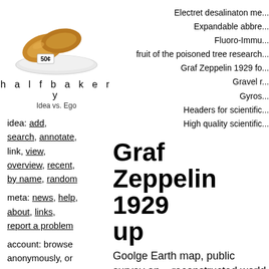[Figure (photo): Croissants on a white plate with a '50¢' price tag]
h a l f b a k e r y
Idea vs. Ego
idea: add, search, annotate, link, view, overview, recent, by name, random
meta: news, help, about, links, report a problem
account: browse anonymously, or get an account and write.
Electret desalinaton me...
Expandable abbre...
Fluoro-Immu...
fruit of the poisoned tree research...
Graf Zeppelin 1929 fo...
Gravel r...
Gyros...
Headers for scientific...
High quality scientific...
Graf Zeppelin 1929 up
Goolge Earth map, public survey and reconstructed world tour
First thing is to look at the movies and reco... and speed, to make a google earth mappin...
Then try to find artifacts like the water bott... in order to overcome the Himalayas.